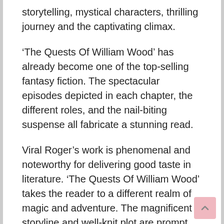storytelling, mystical characters, thrilling journey and the captivating climax.
‘The Quests Of William Wood’ has already become one of the top-selling fantasy fiction. The spectacular episodes depicted in each chapter, the different roles, and the nail-biting suspense all fabricate a stunning read.
Viral Roger’s work is phenomenal and noteworthy for delivering good taste in literature. ‘The Quests Of William Wood’ takes the reader to a different realm of magic and adventure. The magnificent storyline and well-knit plot are prompt and precisely stated. There’s no unwanted incidents, loose ends, or loopholes in the narrative that one could frown